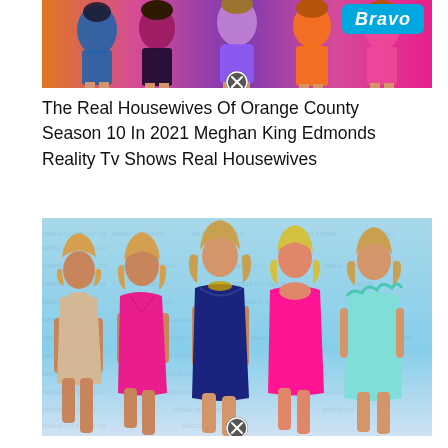[Figure (photo): Promotional image of The Real Housewives of Orange County cast, Season 10, women in colorful outfits with Bravo network logo, with a close/remove button overlay]
The Real Housewives Of Orange County Season 10 In 2021 Meghan King Edmonds Reality Tv Shows Real Housewives
[Figure (photo): Five women in formal cocktail dresses posed together against a light blue background with watermark text pattern. Women wearing gold, pink, navy, hot pink and mint/aqua outfits. Close/remove button at bottom.]